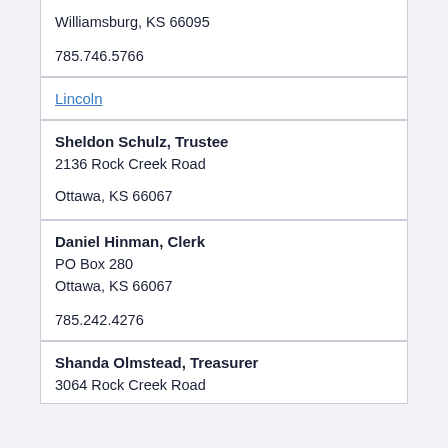Williamsburg, KS 66095
785.746.5766
Lincoln
Sheldon Schulz, Trustee
2136 Rock Creek Road
Ottawa, KS 66067
Daniel Hinman, Clerk
PO Box 280
Ottawa, KS 66067
785.242.4276
Shanda Olmstead, Treasurer
3064 Rock Creek Road